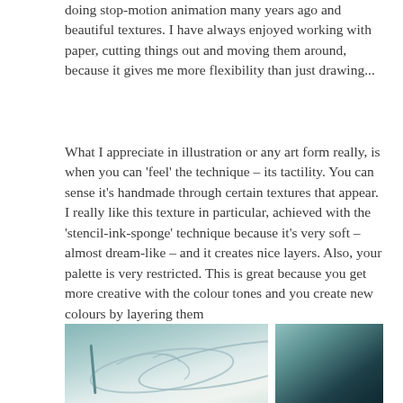doing stop-motion animation many years ago and beautiful textures. I have always enjoyed working with paper, cutting things out and moving them around, because it gives me more flexibility than just drawing...
What I appreciate in illustration or any art form really, is when you can 'feel' the technique – its tactility. You can sense it's handmade through certain textures that appear. I really like this texture in particular, achieved with the 'stencil-ink-sponge' technique because it's very soft – almost dream-like – and it creates nice layers. Also, your palette is very restricted. This is great because you get more creative with the colour tones and you create new colours by layering them
[Figure (photo): Two photos side by side: left photo shows a pen/marker tool on paper with faint outline drawing of a bird or animal shape; right photo shows a dark teal/grey surface, likely a cutting mat or work surface.]